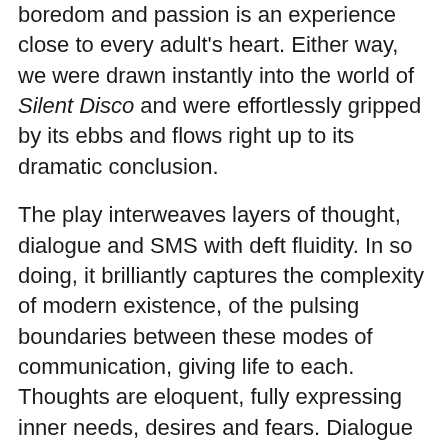boredom and passion is an experience close to every adult's heart. Either way, we were drawn instantly into the world of Silent Disco and were effortlessly gripped by its ebbs and flows right up to its dramatic conclusion.
The play interweaves layers of thought, dialogue and SMS with deft fluidity. In so doing, it brilliantly captures the complexity of modern existence, of the pulsing boundaries between these modes of communication, giving life to each. Thoughts are eloquent, fully expressing inner needs, desires and fears. Dialogue is laden with meaning, each character sounding out his or her counterpart so carefully that true understanding seems impossible. And then there are the SMSs, announced in charecteristically short, sharp sentences – instructions or demands, stripped of the meaning the dialogue partners take so...